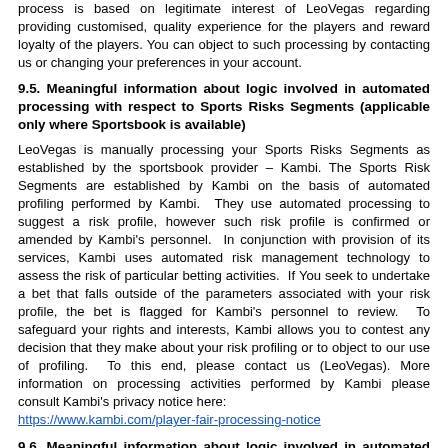process is based on legitimate interest of LeoVegas regarding providing customised, quality experience for the players and reward loyalty of the players. You can object to such processing by contacting us or changing your preferences in your account.
9.5. Meaningful information about logic involved in automated processing with respect to Sports Risks Segments (applicable only where Sportsbook is available)
LeoVegas is manually processing your Sports Risks Segments as established by the sportsbook provider – Kambi. The Sports Risk Segments are established by Kambi on the basis of automated profiling performed by Kambi. They use automated processing to suggest a risk profile, however such risk profile is confirmed or amended by Kambi's personnel. In conjunction with provision of its services, Kambi uses automated risk management technology to assess the risk of particular betting activities. If You seek to undertake a bet that falls outside of the parameters associated with your risk profile, the bet is flagged for Kambi's personnel to review. To safeguard your rights and interests, Kambi allows you to contest any decision that they make about your risk profiling or to object to our use of profiling. To this end, please contact us (LeoVegas). More information on processing activities performed by Kambi please consult Kambi's privacy notice here: https://www.kambi.com/player-fair-processing-notice
9.6. Meaningful information about logic involved in automated processing with respect to Game recommendation
By making use of your Transaction and Usage data, we provide